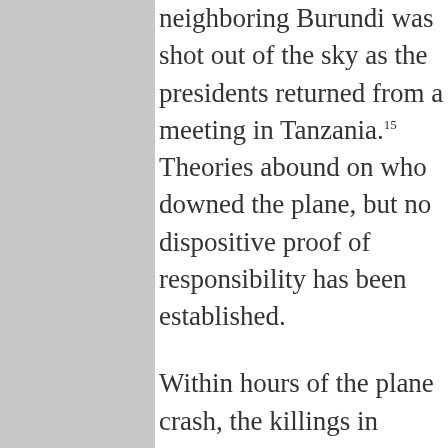neighboring Burundi was shot out of the sky as the presidents returned from a meeting in Tanzania.15 Theories abound on who downed the plane, but no dispositive proof of responsibility has been established.

Within hours of the plane crash, the killings in Rwanda began. Roadblocks were thrown up to prevent escape